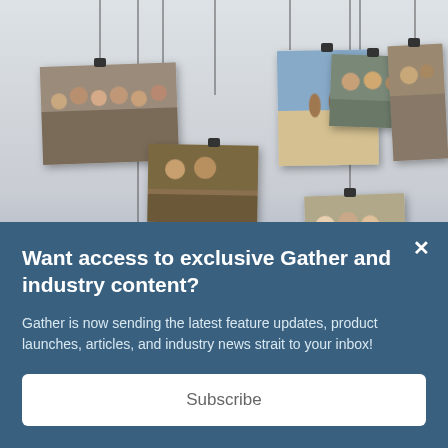[Figure (photo): Collection of family photographs hanging on strings with binder clips, showing various group photos of families and people in outdoor and indoor settings.]
Want access to exclusive Gather and industry content?
Gather is now sending the latest feature updates, product launches, articles, and industry news strait to your inbox!
Subscribe